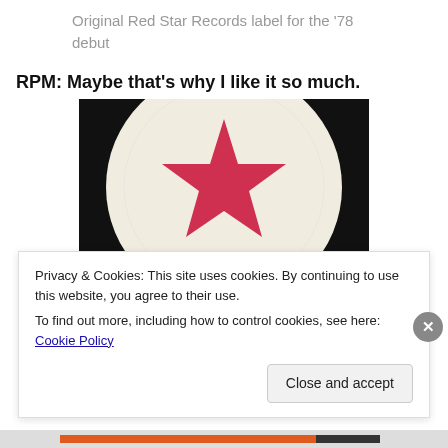Original Red Star Records label for the '78 debut
RPM: Maybe that’s why I like it so much.
[Figure (photo): Photograph of a vinyl record with a white label featuring a large red star in the center, partially cropped showing the circular record edge and label.]
Privacy & Cookies: This site uses cookies. By continuing to use this website, you agree to their use.
To find out more, including how to control cookies, see here: Cookie Policy
Close and accept